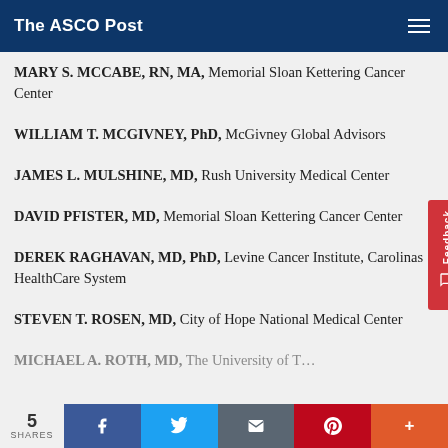The ASCO Post
MARY S. MCCABE, RN, MA, Memorial Sloan Kettering Cancer Center
WILLIAM T. MCGIVNEY, PhD, McGivney Global Advisors
JAMES L. MULSHINE, MD, Rush University Medical Center
DAVID PFISTER, MD, Memorial Sloan Kettering Cancer Center
DEREK RAGHAVAN, MD, PhD, Levine Cancer Institute, Carolinas HealthCare System
STEVEN T. ROSEN, MD, City of Hope National Medical Center
MICHAEL A. ROTH, MD, The University of T…